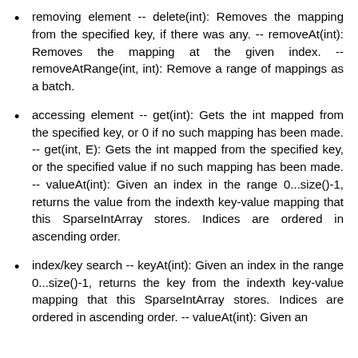removing element -- delete(int): Removes the mapping from the specified key, if there was any. -- removeAt(int): Removes the mapping at the given index. -- removeAtRange(int, int): Remove a range of mappings as a batch.
accessing element -- get(int): Gets the int mapped from the specified key, or 0 if no such mapping has been made. -- get(int, E): Gets the int mapped from the specified key, or the specified value if no such mapping has been made. -- valueAt(int): Given an index in the range 0...size()-1, returns the value from the indexth key-value mapping that this SparseIntArray stores. Indices are ordered in ascending order.
index/key search -- keyAt(int): Given an index in the range 0...size()-1, returns the key from the indexth key-value mapping that this SparseIntArray stores. Indices are ordered in ascending order. -- valueAt(int): Given an index in the range 0...size()-1, returns the value from the